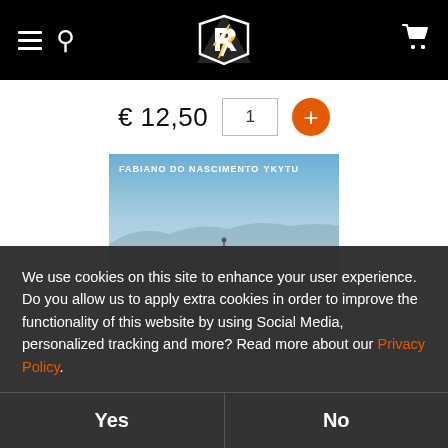[Figure (screenshot): Website header with black background, hamburger menu icon, search icon, stylized logo in center, and shopping cart icon on right]
€ 12,50
[Figure (photo): Album cover for 'Fabiano do Nascimento - YKYTU' showing a desert landscape with a figure standing in the distance, blue sky and mountains in the background]
We use cookies on this site to enhance your user experience. Do you allow us to apply extra cookies in order to improve the functionality of this website by using Social Media, personalized tracking and more? Read more about our Privacy Policy.
Yes
No